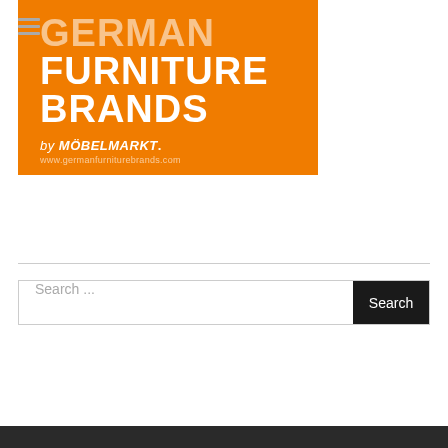[Figure (logo): German Furniture Brands by MÖBELMARKT logo on orange background]
[Figure (screenshot): Search bar with placeholder text 'Search ...' and a dark 'Search' button]